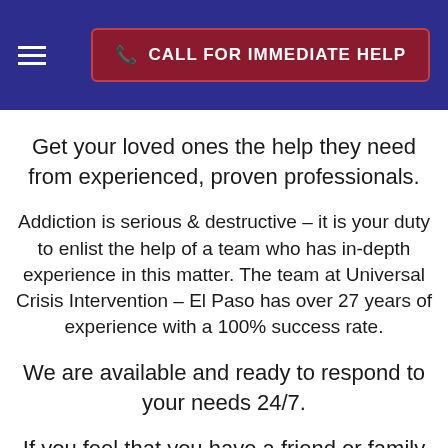CALL FOR IMMEDIATE HELP
Get your loved ones the help they need from experienced, proven professionals.
Addiction is serious & destructive – it is your duty to enlist the help of a team who has in-depth experience in this matter. The team at Universal Crisis Intervention – El Paso has over 27 years of experience with a 100% success rate.
We are available and ready to respond to your needs 24/7.
If you feel that you have a friend or family member who needs help, stop reading and contact us